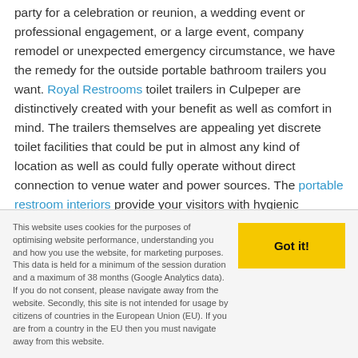party for a celebration or reunion, a wedding event or professional engagement, or a large event, company remodel or unexpected emergency circumstance, we have the remedy for the outside portable bathroom trailers you want. Royal Restrooms toilet trailers in Culpeper are distinctively created with your benefit as well as comfort in mind. The trailers themselves are appealing yet discrete toilet facilities that could be put in almost any kind of location as well as could fully operate without direct connection to venue water and power sources. The portable restroom interiors provide your visitors with hygienic conditions, privacy, as well as a lot of space.

Royal Restrooms are offered in many dimensions as well
This website uses cookies for the purposes of optimising website performance, understanding you and how you use the website, for marketing purposes. This data is held for a minimum of the session duration and a maximum of 38 months (Google Analytics data). If you do not consent, please navigate away from the website. Secondly, this site is not intended for usage by citizens of countries in the European Union (EU). If you are from a country in the EU then you must navigate away from this website.